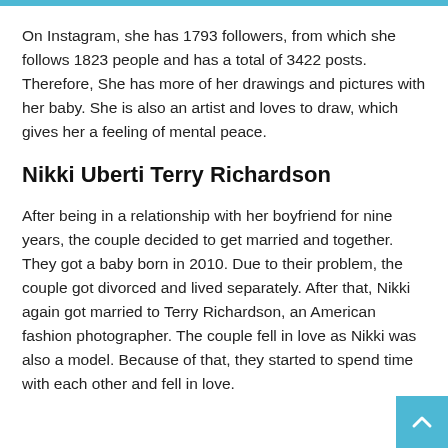On Instagram, she has 1793 followers, from which she follows 1823 people and has a total of 3422 posts. Therefore, She has more of her drawings and pictures with her baby. She is also an artist and loves to draw, which gives her a feeling of mental peace.
Nikki Uberti Terry Richardson
After being in a relationship with her boyfriend for nine years, the couple decided to get married and together. They got a baby born in 2010. Due to their problem, the couple got divorced and lived separately. After that, Nikki again got married to Terry Richardson, an American fashion photographer. The couple fell in love as Nikki was also a model. Because of that, they started to spend time with each other and fell in love.